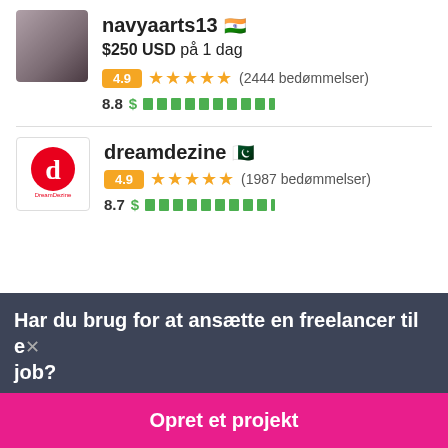navyaarts13 🇮🇳
$250 USD på 1 dag
4.9 ★★★★★ (2444 bedømmelser)
8.8
dreamdezine 🇵🇰
4.9 ★★★★★ (1987 bedømmelser)
8.7
Har du brug for at ansætte en freelancer til et job?
Opret et projekt